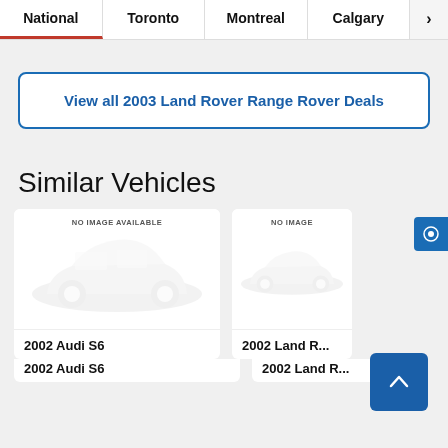National | Toronto | Montreal | Calgary | >
View all 2003 Land Rover Range Rover Deals
Similar Vehicles
[Figure (illustration): Car listing card showing 'NO IMAGE AVAILABLE' placeholder with faded car silhouette for 2002 Audi S6]
2002 Audi S6
[Figure (illustration): Car listing card showing 'NO IMAGE' placeholder with faded car silhouette for 2002 Land Rover (partially visible)]
2002 Land R...